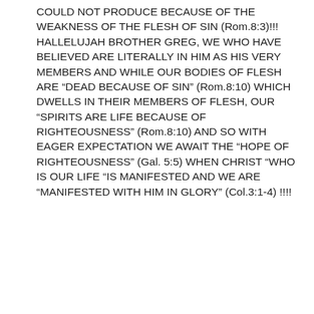COULD NOT PRODUCE BECAUSE OF THE WEAKNESS OF THE FLESH OF SIN (Rom.8:3)!!! HALLELUJAH BROTHER GREG, WE WHO HAVE BELIEVED ARE LITERALLY IN HIM AS HIS VERY MEMBERS AND WHILE OUR BODIES OF FLESH ARE “DEAD BECAUSE OF SIN” (Rom.8:10) WHICH DWELLS IN THEIR MEMBERS OF FLESH, OUR “SPIRITS ARE LIFE BECAUSE OF RIGHTEOUSNESS” (Rom.8:10) AND SO WITH EAGER EXPECTATION WE AWAIT THE “HOPE OF RIGHTEOUSNESS” (Gal. 5:5) WHEN CHRIST “WHO IS OUR LIFE “IS MANIFESTED AND WE ARE “MANIFESTED WITH HIM IN GLORY” (Col.3:1-4) !!!!
Mark  12/30/2019 • Reply
Hi Greg, The Scripture 2Cor.3:14 referenced above should be 2Cor.3:17 “Now the Lord is the Spirit and where the Spirit of the Lord is there is liberty”. Now since “It is for freedom that Christ has set us free” then we should “stand fast therefore, and do not be entangled with a yoke of slavery to fear again” (Gal.5:1) and since we were